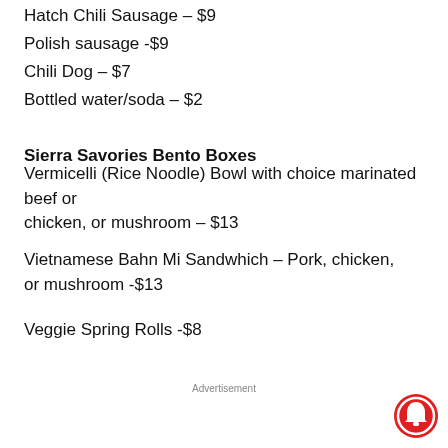Hatch Chili Sausage – $9
Polish sausage -$9
Chili Dog – $7
Bottled water/soda – $2
Sierra Savories Bento Boxes
Vermicelli (Rice Noodle) Bowl with choice marinated beef or chicken, or mushroom – $13
Vietnamese Bahn Mi Sandwhich – Pork, chicken, or mushroom -$13
Veggie Spring Rolls -$8
Advertisement